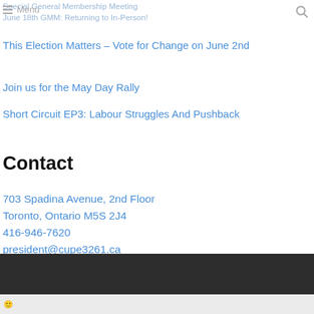Special General Membership Meeting
June 18th GMM: Returning to In-Person!
This Election Matters – Vote for Change on June 2nd
Join us for the May Day Rally
Short Circuit EP3: Labour Struggles And Pushback
Contact
703 Spadina Avenue, 2nd Floor
Toronto, Ontario M5S 2J4
416-946-7620
president@cupe3261.ca